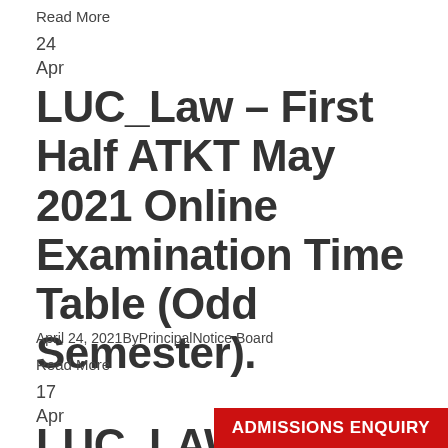Read More
24
Apr
LUC_Law – First Half ATKT May 2021 Online Examination Time Table (Odd Semester).
April 24, 2021ByPrincipalNotice Board
Read More
17
Apr
LUC_LAW – Notice For Examinatio…
ADMISSIONS ENQUIRY